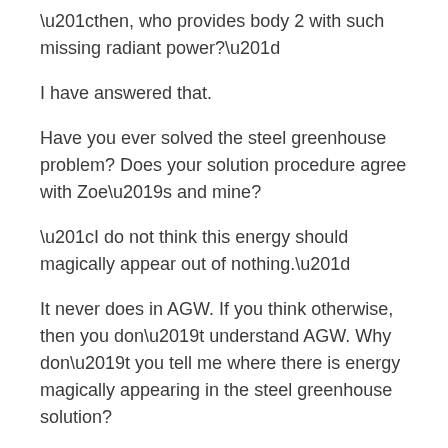“then, who provides body 2 with such missing radiant power?”
I have answered that.
Have you ever solved the steel greenhouse problem? Does your solution procedure agree with Zoe’s and mine?
“I do not think this energy should magically appear out of nothing.”
It never does in AGW. If you think otherwise, then you don’t understand AGW. Why don’t you tell me where there is energy magically appearing in the steel greenhouse solution?
No shell : q_in=240 W/m^2, Tsphere = 255K,